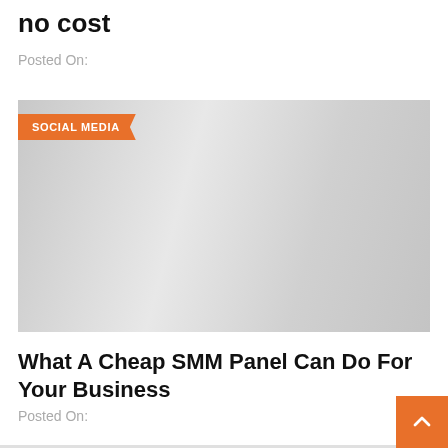no cost
Posted On:
[Figure (illustration): Gray placeholder image with an orange speech-bubble tag labeled 'SOCIAL MEDIA' in the upper left corner.]
What A Cheap SMM Panel Can Do For Your Business
Posted On: